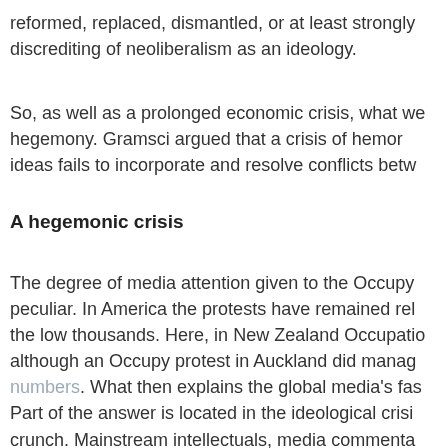reformed, replaced, dismantled, or at least strongly discrediting of neoliberalism as an ideology.
So, as well as a prolonged economic crisis, what we hegemony. Gramsci argued that a crisis of hemon ideas fails to incorporate and resolve conflicts betw
A hegemonic crisis
The degree of media attention given to the Occupy peculiar. In America the protests have remained rel the low thousands. Here, in New Zealand Occupatio although an Occupy protest in Auckland did manag numbers. What then explains the global media's fas Part of the answer is located in the ideological crisi crunch. Mainstream intellectuals, media commenta come up with any coherent explanation of, as well a quagmire Western capitalism finds itself in. Therefo